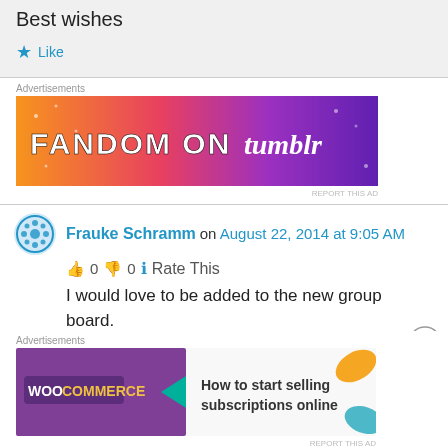your art pins with retail price tag on each.
Best wishes
Like
Advertisements
[Figure (illustration): Fandom on Tumblr advertisement banner with colorful orange-to-purple gradient background]
REPORT THIS AD
Frauke Schramm on August 22, 2014 at 9:05 AM
0  0  Rate This
I would love to be added to the new group board.
Here's the link to my profile:
http://www.pinterest.com/quiltherde/
Advertisements
[Figure (illustration): WooCommerce advertisement banner - How to start selling subscriptions online]